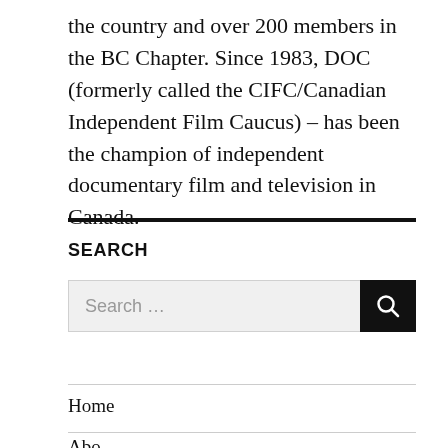the country and over 200 members in the BC Chapter. Since 1983, DOC (formerly called the CIFC/Canadian Independent Film Caucus) – has been the champion of independent documentary film and television in Canada.
SEARCH
Home